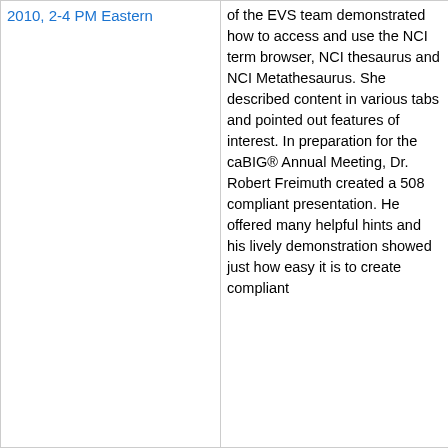2010, 2-4 PM Eastern
of the EVS team demonstrated how to access and use the NCI term browser, NCI thesaurus and NCI Metathesaurus. She described content in various tabs and pointed out features of interest. In preparation for the caBIG® Annual Meeting, Dr. Robert Freimuth created a 508 compliant presentation. He offered many helpful hints and his lively demonstration showed just how easy it is to create compliant